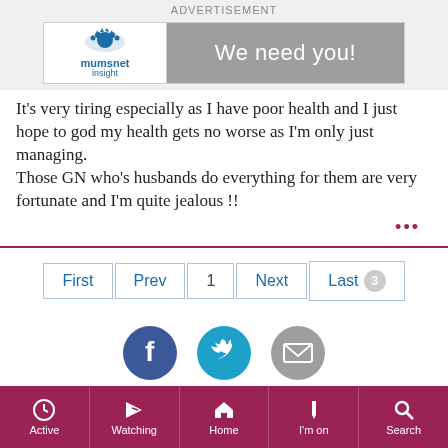[Figure (screenshot): Mumsnet Insight advertisement banner with logo on left and 'We need you!' on grey background]
It's very tiring especially as I have poor health and I just hope to god my health gets no worse as I'm only just managing.
Those GN who's husbands do everything for them are very fortunate and I'm quite jealous !!
First  Prev  1  Next  Last  3
[Figure (other): Social sharing icons: Facebook (dark blue circle), Twitter (teal circle), Email (grey circle)]
Active  Watching  Home  I'm on  Search